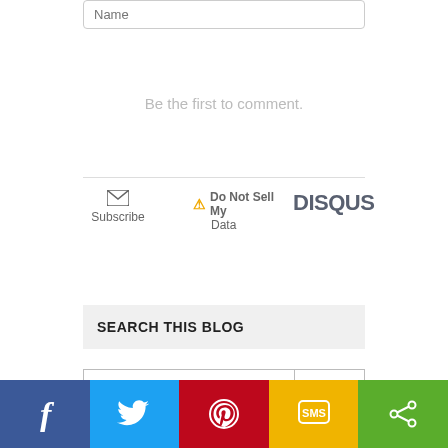Name
Be the first to comment.
Subscribe
Do Not Sell My Data
DISQUS
SEARCH THIS BLOG
Search